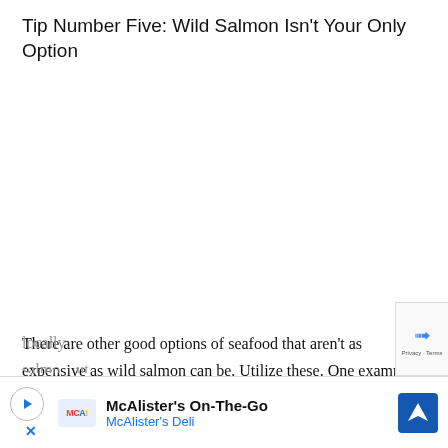Tip Number Five: Wild Salmon Isn't Your Only Option
There are other good options of seafood that aren't as expensive as wild salmon can be. Utilize these. One example is black cod, which I can often buy locally…salmo…ut